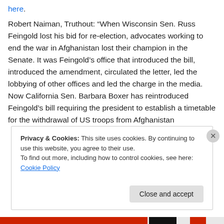here.
Robert Naiman, Truthout: “When Wisconsin Sen. Russ Feingold lost his bid for re-election, advocates working to end the war in Afghanistan lost their champion in the Senate. It was Feingold’s office that introduced the bill, introduced the amendment, circulated the letter, led the lobbying of other offices and led the charge in the media. Now California Sen. Barbara Boxer has reintroduced Feingold’s bill requiring the president to establish a timetable for the withdrawal of US troops from Afghanistan
Privacy & Cookies: This site uses cookies. By continuing to use this website, you agree to their use.
To find out more, including how to control cookies, see here: Cookie Policy
Close and accept